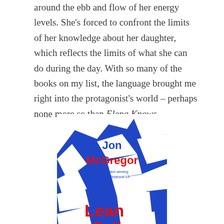around the ebb and flow of her energy levels. She's forced to confront the limits of her knowledge about her daughter, which reflects the limits of what she can do during the day. With so many of the books on my list, the language brought me right into the protagonist's world – perhaps none more so than Elena Knows.
[Figure (illustration): Book cover of 'Lean Fall Stand' by Jon McGregor. Blue and white geometric angular pattern covering the cover. Title in large red letters. Tagline: 'Costa Award winning author of Reservoir 13'. Bottom quote: 'Beautiful … his writing makes every heart-beat register' Hilary Mantel.]